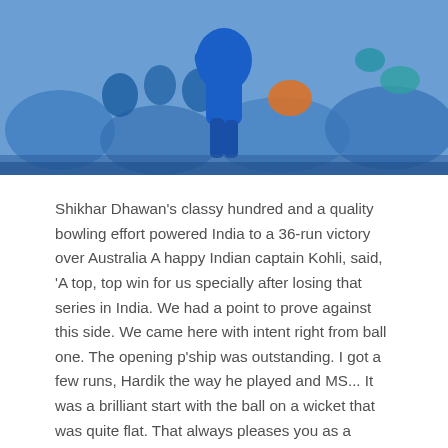[Figure (photo): Cricket player in blue Indian team jersey jumping or celebrating on field with crowd in background]
Shikhar Dhawan's classy hundred and a quality bowling effort powered India to a 36-run victory over Australia A happy Indian captain Kohli, said, 'A top, top win for us specially after losing that series in India. We had a point to prove against this side. We came here with intent right from ball one. The opening p'ship was outstanding. I got a few runs, Hardik the way he played and MS... It was a brilliant start with the ball on a wicket that was quite flat. That always pleases you as a captain. You have to bowl well. You can't take things for granted just because you have 350+ on the board. That 30 runs gives you the luxury.'
'One of the top three getting hundred. We decided to send Hardik to cash in, he could just hit from ball one. For us if